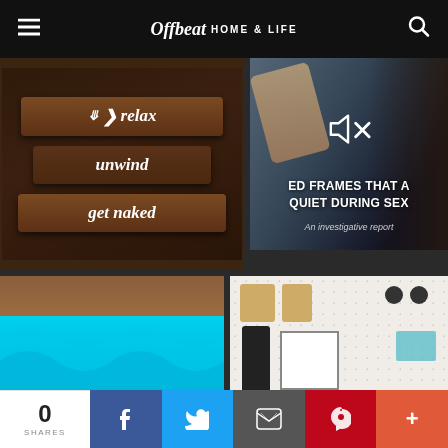Offbeat HOME & LIFE
[Figure (photo): Wooden signs on dark wood background reading 'relax', 'unwind', 'get naked' with an arrow motif]
[Figure (screenshot): Video thumbnail with muted speaker icon, title 'BED FRAMES THAT ARE QUIET DURING SEX - An investigative report']
[Figure (photo): Blue and teal ruffled fabric skirt on wooden surface with rainbow pattern]
[Figure (photo): Pegboard wall organizer with various items including baskets, jewelry, and a framed photo]
0 SHARES — Facebook, Twitter, Email, Pinterest, More